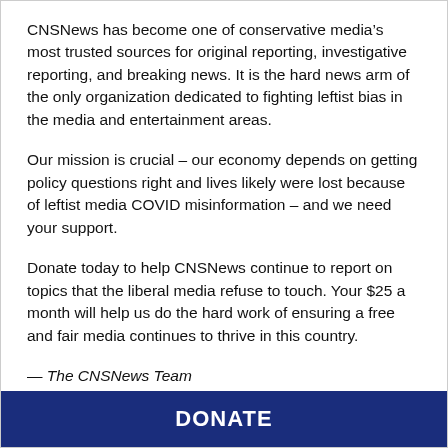CNSNews has become one of conservative media’s most trusted sources for original reporting, investigative reporting, and breaking news. It is the hard news arm of the only organization dedicated to fighting leftist bias in the media and entertainment areas.
Our mission is crucial – our economy depends on getting policy questions right and lives likely were lost because of leftist media COVID misinformation – and we need your support.
Donate today to help CNSNews continue to report on topics that the liberal media refuse to touch. Your $25 a month will help us do the hard work of ensuring a free and fair media continues to thrive in this country.
— The CNSNews Team
DONATE